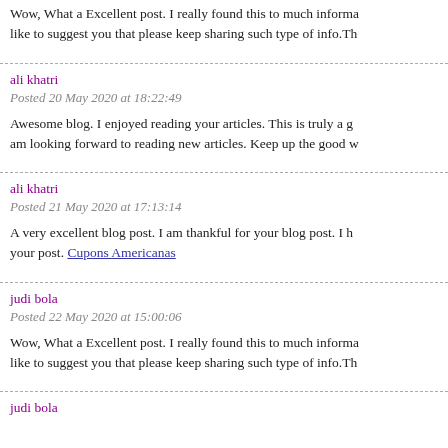Wow, What a Excellent post. I really found this to much informa… like to suggest you that please keep sharing such type of info.Th…
ali khatri
Posted 20 May 2020 at 18:22:49
Awesome blog. I enjoyed reading your articles. This is truly a g… am looking forward to reading new articles. Keep up the good w…
ali khatri
Posted 21 May 2020 at 17:13:14
A very excellent blog post. I am thankful for your blog post. I h… your post. Cupons Americanas
judi bola
Posted 22 May 2020 at 15:00:06
Wow, What a Excellent post. I really found this to much informa… like to suggest you that please keep sharing such type of info.Th…
judi bola